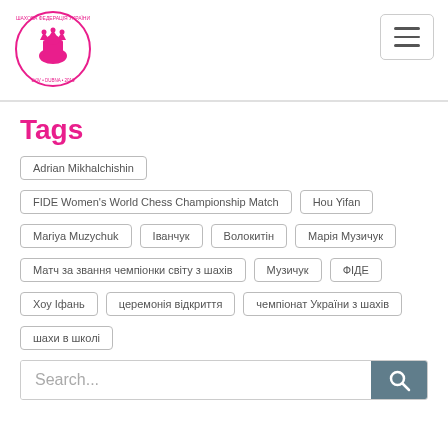[Figure (logo): Pink chess federation logo with queen piece and circular text]
Tags
Adrian Mikhalchishin
FIDE Women's World Chess Championship Match
Hou Yifan
Mariya Muzychuk
Іванчук
Волокитін
Марія Музичук
Матч за звання чемпіонки світу з шахів
Музичук
ФІДЕ
Хоу Іфань
церемонія відкриття
чемпіонат України з шахів
шахи в школі
Search...